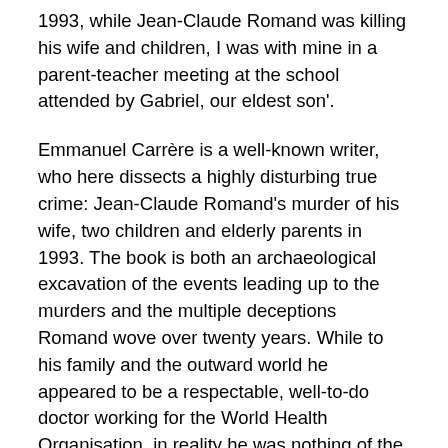1993, while Jean-Claude Romand was killing his wife and children, I was with mine in a parent-teacher meeting at the school attended by Gabriel, our eldest son'.
Emmanuel Carrère is a well-known writer, who here dissects a highly disturbing true crime: Jean-Claude Romand's murder of his wife, two children and elderly parents in 1993. The book is both an archaeological excavation of the events leading up to the murders and the multiple deceptions Romand wove over twenty years. While to his family and the outward world he appeared to be a respectable, well-to-do doctor working for the World Health Organisation, in reality he was nothing of the sort. Carrère effectively explores how Romand deceived and betrayed his family, and the ways in which his lies corroded his own identity, creating a terrifying void. Hard-hitting and thoughtful, but avoiding sensationalism,